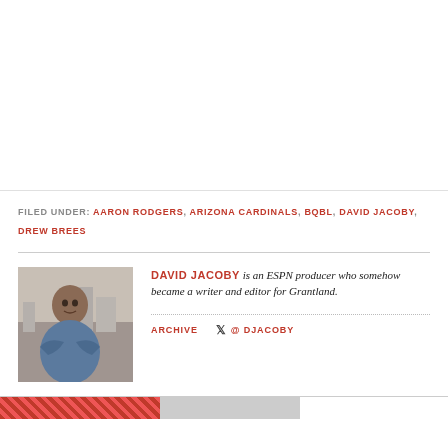FILED UNDER: AARON RODGERS, ARIZONA CARDINALS, BQBL, DAVID JACOBY, DREW BREES
[Figure (photo): Headshot photo of David Jacoby, a man in a denim jacket seated with arms crossed, shown against an urban background.]
DAVID JACOBY is an ESPN producer who somehow became a writer and editor for Grantland.
ARCHIVE   @ DJACOBY